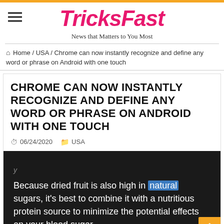TricksFast — News that Matters to You Most
Home / USA / Chrome can now instantly recognize and define any word or phrase on Android with one touch
CHROME CAN NOW INSTANTLY RECOGNIZE AND DEFINE ANY WORD OR PHRASE ON ANDROID WITH ONE TOUCH
06/24/2020   USA
[Figure (screenshot): Screenshot of Chrome browser on Android showing text: 'Because dried fruit is also high in natural sugars, it's best to combine it with a nutritious protein source to minimize the potential effects on your blood sugar.' The word 'natural' is highlighted in blue.]